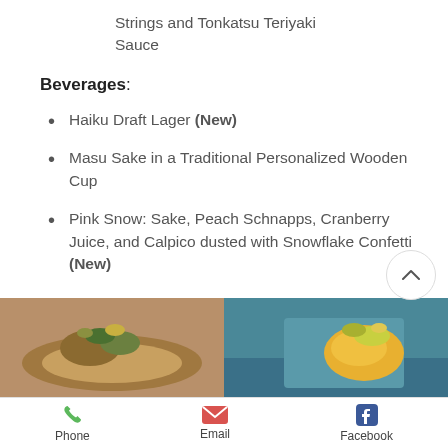Strings and Tonkatsu Teriyaki Sauce
Beverages:
Haiku Draft Lager (New)
Masu Sake in a Traditional Personalized Wooden Cup
Pink Snow: Sake, Peach Schnapps, Cranberry Juice, and Calpico dusted with Snowflake Confetti (New)
[Figure (photo): Two food photos side by side showing Japanese restaurant dishes with garnishes]
Phone   Email   Facebook